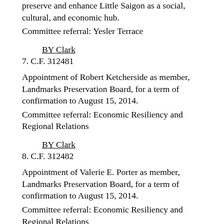preserve and enhance Little Saigon as a social, cultural, and economic hub.
Committee referral: Yesler Terrace
BY Clark
7. C.F. 312481
Appointment of Robert Ketcherside as member, Landmarks Preservation Board, for a term of confirmation to August 15, 2014.
Committee referral: Economic Resiliency and Regional Relations
BY Clark
8. C.F. 312482
Appointment of Valerie E. Porter as member, Landmarks Preservation Board, for a term of confirmation to August 15, 2014.
Committee referral: Economic Resiliency and Regional Relations
BY Clark